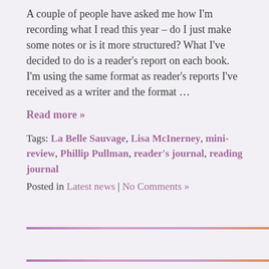A couple of people have asked me how I'm recording what I read this year – do I just make some notes or is it more structured? What I've decided to do is a reader's report on each book. I'm using the same format as reader's reports I've received as a writer and the format …
Read more »
Tags: La Belle Sauvage, Lisa McInerney, mini-review, Phillip Pullman, reader's journal, reading journal
Posted in Latest news | No Comments »